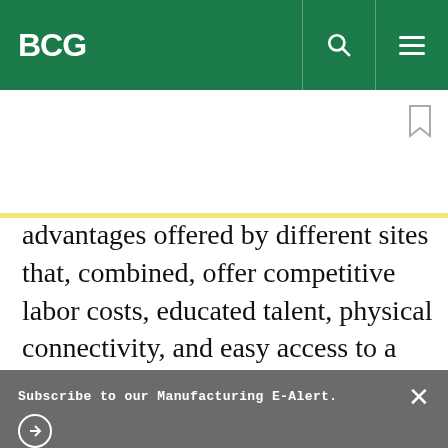BCG
advantages offered by different sites that, combined, offer competitive labor costs, educated talent, physical connectivity, and easy access to a
Subscribe to our Manufacturing E-Alert.
protected by reCaptcha
By using this site, you agree with our use of cookies.
I consent to cookies
Want to know more?
Read our Cookie Policy